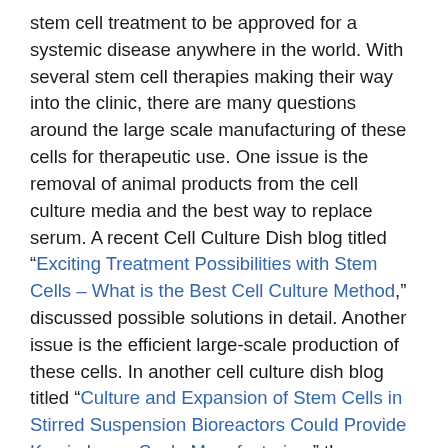stem cell treatment to be approved for a systemic disease anywhere in the world. With several stem cell therapies making their way into the clinic, there are many questions around the large scale manufacturing of these cells for therapeutic use. One issue is the removal of animal products from the cell culture media and the best way to replace serum. A recent Cell Culture Dish blog titled “Exciting Treatment Possibilities with Stem Cells – What is the Best Cell Culture Method,” discussed possible solutions in detail. Another issue is the efficient large-scale production of these cells. In another cell culture dish blog titled “Culture and Expansion of Stem Cells in Stirred Suspension Bioreactors Could Provide Key in Large Scale Manufacturing,” the possible use of suspension bioreactors to culture stem cells is discussed.